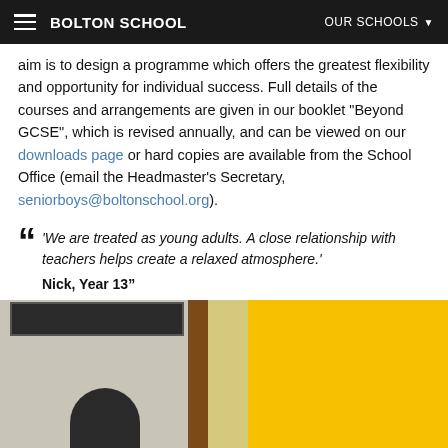BOLTON SCHOOL | OUR SCHOOLS
aim is to design a programme which offers the greatest flexibility and opportunity for individual success. Full details of the courses and arrangements are given in our booklet "Beyond GCSE", which is revised annually, and can be viewed on our downloads page or hard copies are available from the School Office (email the Headmaster's Secretary, seniorboys@boltonschool.org).
“We are treated as young adults. A close relationship with teachers helps create a relaxed atmosphere.’ Nick, Year 13”
[Figure (photo): Classroom scene showing a student from behind with a blackboard, wooden post, yellow panel, and wall decorations visible]